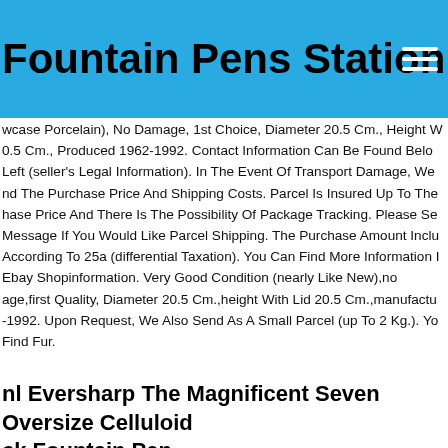Fountain Pens Station
wcase Porcelain), No Damage, 1st Choice, Diameter 20.5 Cm., Height W 0.5 Cm., Produced 1962-1992. Contact Information Can Be Found Belo Left (seller's Legal Information). In The Event Of Transport Damage, We nd The Purchase Price And Shipping Costs. Parcel Is Insured Up To The hase Price And There Is The Possibility Of Package Tracking. Please Se Message If You Would Like Parcel Shipping. The Purchase Amount Inclu According To 25a (differential Taxation). You Can Find More Information I Ebay Shopinformation. Very Good Condition (nearly Like New),no age,first Quality, Diameter 20.5 Cm.,height With Lid 20.5 Cm.,manufactu -1992. Upon Request, We Also Send As A Small Parcel (up To 2 Kg.). Yo Find Fur.
nl Eversharp The Magnificent Seven Oversize Celluloid ck Fountain Pen
l Eversharp Decoband Collection Fountain Pen . The Magnificent Seven loid+18k . Model The Magnificent Seven. The Pen Is All. Converter No